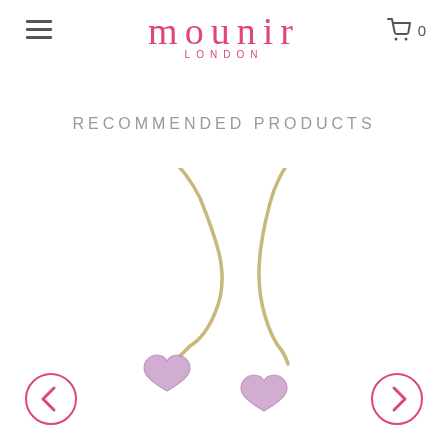mounir LONDON
RECOMMENDED PRODUCTS
[Figure (photo): A pair of gold wire hook earrings with pink/lavender heart-shaped gemstone drops (amethyst), shown hanging on a white background. Navigation arrows (left/right) appear at the bottom corners.]